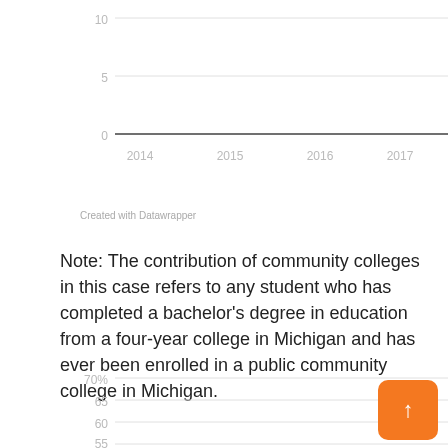[Figure (continuous-plot): Top portion of a line chart showing y-axis values 0, 5, 10 and x-axis labels 2014, 2015, 2016, 2017, 2018. The data line runs near 0 across the time range.]
Created with Datawrapper
Note: The contribution of community colleges in this case refers to any student who has completed a bachelor’s degree in education from a four-year college in Michigan and has ever been enrolled in a public community college in Michigan.
[Figure (continuous-plot): Bottom portion of a line chart showing y-axis values 55, 60, 65, 70% (partial view). X-axis not visible in this crop.]